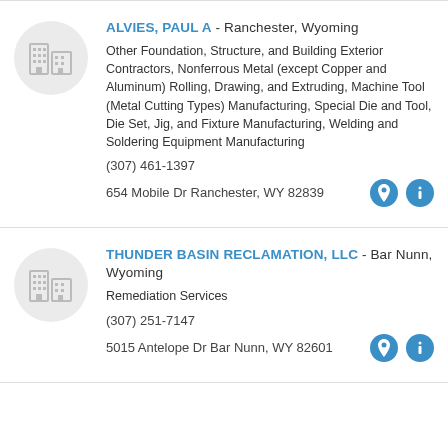ALVIES, PAUL A - Ranchester, Wyoming
Other Foundation, Structure, and Building Exterior Contractors, Nonferrous Metal (except Copper and Aluminum) Rolling, Drawing, and Extruding, Machine Tool (Metal Cutting Types) Manufacturing, Special Die and Tool, Die Set, Jig, and Fixture Manufacturing, Welding and Soldering Equipment Manufacturing
(307) 461-1397
654 Mobile Dr Ranchester, WY 82839
THUNDER BASIN RECLAMATION, LLC - Bar Nunn, Wyoming
Remediation Services
(307) 251-7147
5015 Antelope Dr Bar Nunn, WY 82601